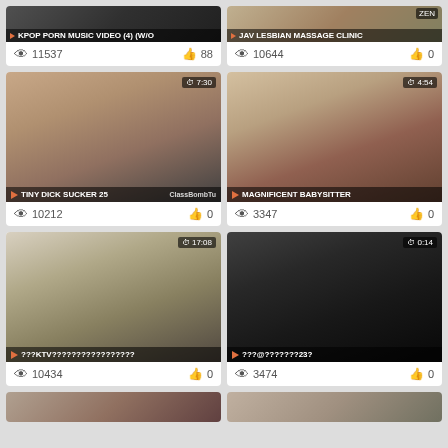[Figure (screenshot): Video thumbnail grid showing adult video website with 6 video cards visible, each with thumbnail image, title, view count, and like count]
KPOP PORN MUSIC VIDEO (4) (W/O
11537 views, 88 likes
JAV LESBIAN MASSAGE CLINIC
10644 views, 0 likes
TINY DICK SUCKER 25 | 7:30
10212 views, 0 likes
MAGNIFICENT BABYSITTER | 4:54
3347 views, 0 likes
???KTV????????????????? | 17:08
10434 views, 0 likes
???@???????23? | 0:14
3474 views, 0 likes